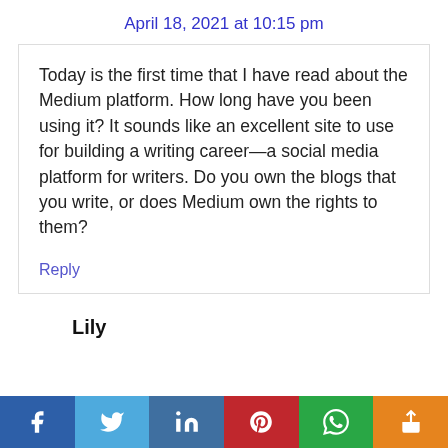April 18, 2021 at 10:15 pm
Today is the first time that I have read about the Medium platform. How long have you been using it? It sounds like an excellent site to use for building a writing career—a social media platform for writers. Do you own the blogs that you write, or does Medium own the rights to them?
Reply
Lily